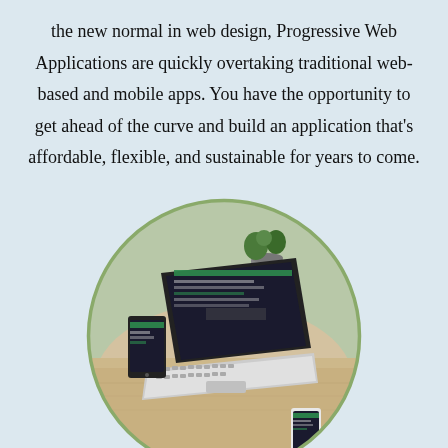the new normal in web design, Progressive Web Applications are quickly overtaking traditional web-based and mobile apps. You have the opportunity to get ahead of the curve and build an application that's affordable, flexible, and sustainable for years to come.
[Figure (photo): A circular-cropped photo showing a laptop, smartphone, and tablet on a wooden desk with a plant in the background, all displaying a web design website. A blue circular arrow/upload icon appears in the bottom-left corner.]